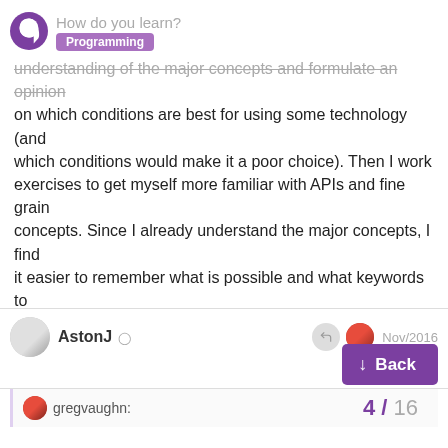How do you learn?
understanding of the major concepts and formulate an opinion on which conditions are best for using some technology (and which conditions would make it a poor choice). Then I work exercises to get myself more familiar with APIs and fine grain concepts. Since I already understand the major concepts, I find it easier to remember what is possible and what keywords to search for to find those details.
OTOH, if I'm in a work situation and have to work with a language/framework/tool I'm unfamiliar with, I'll focus on a quick overview tutorial for big picture ideas then dive-in.
AstonJ Nov/2016
gregvaughn: 4 / 16